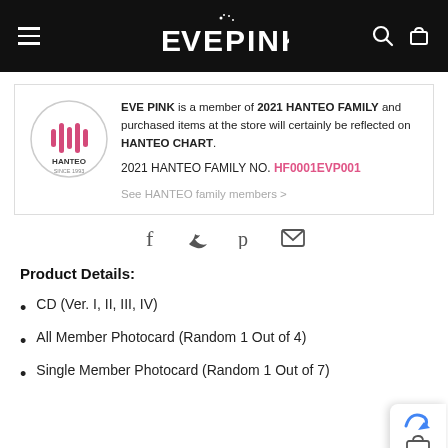EVE PINK
[Figure (logo): Hanteo logo - circular badge with sound wave bars and text HANTEO SINCE 1993]
EVE PINK is a member of 2021 HANTEO FAMILY and purchased items at the store will certainly be reflected on HANTEO CHART. 2021 HANTEO FAMILY NO. HF0001EVP001 See HANTEO family members >
[Figure (infographic): Social share icons: Facebook (f), Twitter (bird), Pinterest (P), Email (envelope)]
Product Details:
CD (Ver. I, II, III, IV)
All Member Photocard (Random 1 Out of 4)
Single Member Photocard (Random 1 Out of 7)